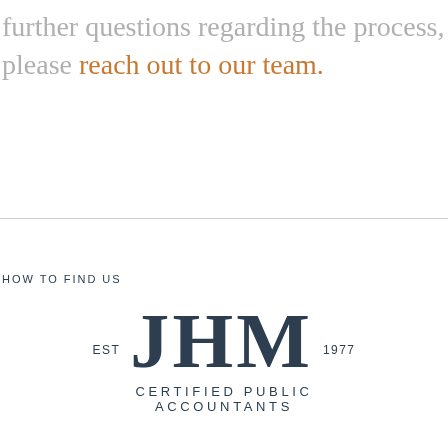further questions regarding the process, please reach out to our team.
HOW TO FIND US
[Figure (logo): JHM Certified Public Accountants logo. EST JHM 1977 with CERTIFIED PUBLIC ACCOUNTANTS below in dark navy serif/sans-serif lettering.]